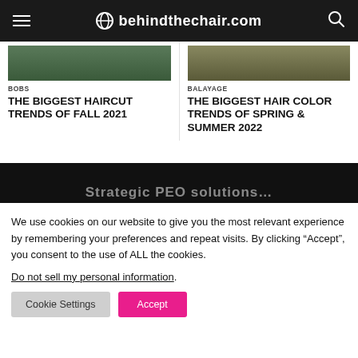behindthechair.com
BOBS
THE BIGGEST HAIRCUT TRENDS OF FALL 2021
BALAYAGE
THE BIGGEST HAIR COLOR TRENDS OF SPRING & SUMMER 2022
[Figure (screenshot): Dark banner with partially visible white text]
We use cookies on our website to give you the most relevant experience by remembering your preferences and repeat visits. By clicking “Accept”, you consent to the use of ALL the cookies.
Do not sell my personal information.
Cookie Settings   Accept